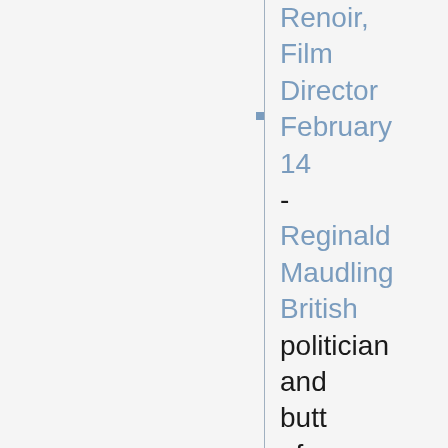Renoir, Film Director February 14 - Reginald Maudling British politician and butt of Monty Python's jokes